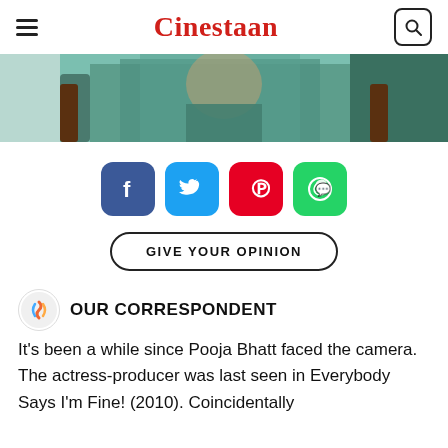Cinestaan
[Figure (photo): A person wearing a green/teal sari seated in a wooden chair, with a vase visible in the background.]
[Figure (infographic): Social sharing buttons: Facebook (blue), Twitter (blue), Pinterest (red), WhatsApp (green)]
GIVE YOUR OPINION
OUR CORRESPONDENT
It's been a while since Pooja Bhatt faced the camera. The actress-producer was last seen in Everybody Says I'm Fine! (2010). Coincidentally